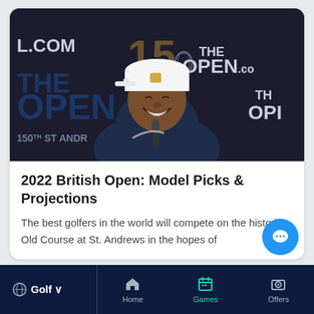[Figure (photo): Tiger Woods smiling at a press conference for The Open Championship 150th edition at St. Andrews, wearing a white Nike cap and dark navy sweater, with 'THE OPEN.COM' and '150' branding on the backdrop behind him]
2022 British Open: Model Picks & Projections
The best golfers in the world will compete on the historic Old Course at St. Andrews in the hopes of
Golf  Home  Games  Offers